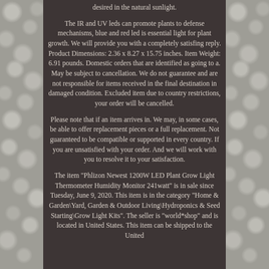desired in the natural sunlight.
The IR and UV leds can promote plants to defense mechanisms, blue and red led is essential light for plant growth. We will provide you with a completely satisfing reply. Product Dimensions: 2.36 x 8.27 x 15.75 inches. Item Weight: 6.91 pounds. Domestic orders that are identified as going to a. May be subject to cancellation. We do not guarantee and are not responsible for items received in the final destination in damaged condition. Excluded item due to country restrictions, your order will be cancelled.
Please note that if an item arrives in. We may, in some cases, be able to offer replacement pieces or a full replacement. Not guaranteed to be compatible or supported in every country. If you are unsatisfied with your order. And we will work with you to resolve it to your satisfaction.
The item "Phlizon Newest 1200W LED Plant Grow Light Thermometer Humidity Monitor 241watt" is in sale since Tuesday, June 9, 2020. This item is in the category "Home & Garden\Yard, Garden & Outdoor Living\Hydroponics & Seed Starting\Grow Light Kits". The seller is "world*shop" and is located in United States. This item can be shipped to the United